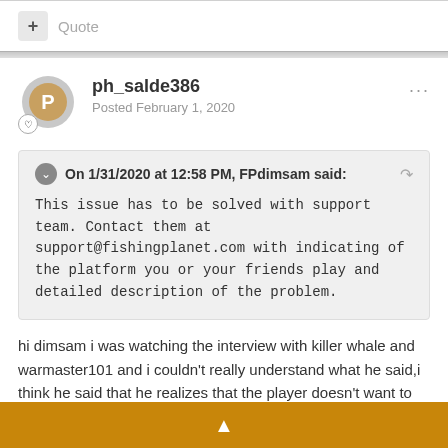+ Quote
ph_salde386
Posted February 1, 2020
On 1/31/2020 at 12:58 PM, FPdimsam said:

This issue has to be solved with support team. Contact them at support@fishingplanet.com with indicating of the platform you or your friends play and detailed description of the problem.
hi dimsam i was watching the interview with killer whale and warmaster101 and i couldn't really understand what he said,i think he said that he realizes that the player doesn't want to look